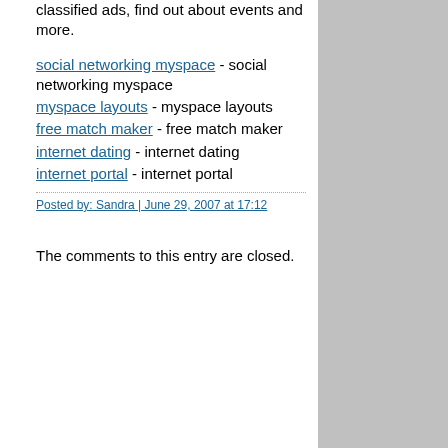classified ads, find out about events and more.
social networking myspace - social networking myspace
myspace layouts - myspace layouts
free match maker - free match maker
internet dating - internet dating
internet portal - internet portal
Posted by: Sandra | June 29, 2007 at 17:12
The comments to this entry are closed.